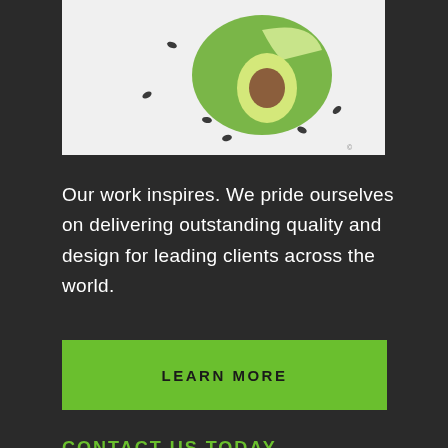[Figure (photo): An avocado cut open with seeds scattered around it on a white background]
Our work inspires. We pride ourselves on delivering outstanding quality and design for leading clients across the world.
LEARN MORE
CONTACT US TODAY
Business Location
3025 Hemlock Farms
Lords Valley PA 18428